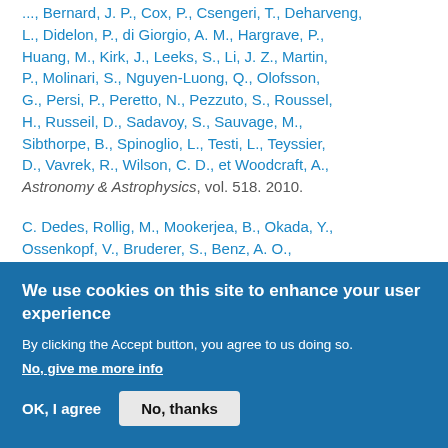..., Bernard, J. P., Cox, P., Csengeri, T., Deharveng, L., Didelon, P., di Giorgio, A. M., Hargrave, P., Huang, M., Kirk, J., Leeks, S., Li, J. Z., Martin, P., Molinari, S., Nguyen-Luong, Q., Olofsson, G., Persi, P., Peretto, N., Pezzuto, S., Roussel, H., Russeil, D., Sadavoy, S., Sauvage, M., Sibthorpe, B., Spinoglio, L., Testi, L., Teyssier, D., Vavrek, R., Wilson, C. D., et Woodcraft, A., Astronomy & Astrophysics, vol. 518. 2010.
C. Dedes, Rollig, M., Mookerjea, B., Okada, Y., Ossenkopf, V., Bruderer, S., Benz, A. O., Melchior, M., Kramer, C., Gerin, M., Gusten, R., Akyilmaz, M., Berne, O., Boulanger, F., De ...
We use cookies on this site to enhance your user experience
By clicking the Accept button, you agree to us doing so.
No, give me more info
OK, I agree
No, thanks